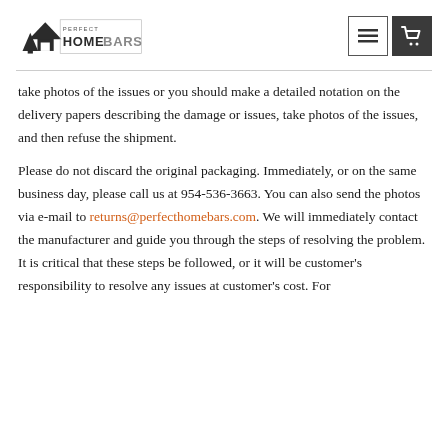Perfect Home Bars
take photos of the issues or you should make a detailed notation on the delivery papers describing the damage or issues, take photos of the issues, and then refuse the shipment.
Please do not discard the original packaging. Immediately, or on the same business day, please call us at 954-536-3663. You can also send the photos via e-mail to returns@perfecthomebars.com. We will immediately contact the manufacturer and guide you through the steps of resolving the problem. It is critical that these steps be followed, or it will be customer's responsibility to resolve any issues at customer's cost. For